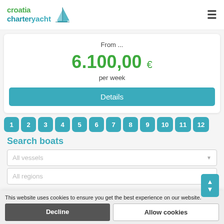[Figure (logo): Croatia charter yacht logo with green and blue text and a sailing boat icon]
From ...
6.100,00 €
per week
Details
1 2 3 4 5 6 7 8 9 10 11 12
Search boats
All vessels
All regions
This website uses cookies to ensure you get the best experience on our website.
Decline
Allow cookies